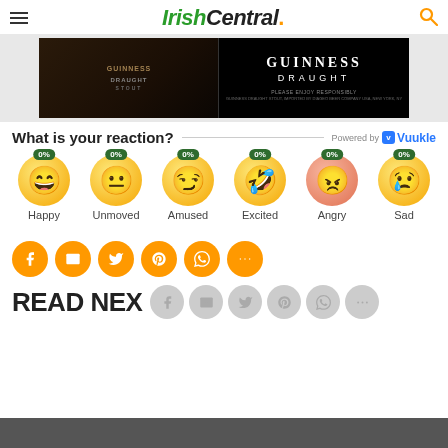IrishCentral.
[Figure (photo): Guinness Draught Stout advertisement banner showing a pint glass and bottle of Guinness against a dark background]
What is your reaction? Powered by Vuukle
[Figure (infographic): Reaction emoji row: Happy 0%, Unmoved 0%, Amused 0%, Excited 0%, Angry 0%, Sad 0%]
[Figure (infographic): Social share buttons: Facebook, Email, Twitter, Pinterest, WhatsApp, More (orange circles)]
READ NEXT
[Figure (infographic): Social share buttons gray: Facebook, Email, Twitter, Pinterest, WhatsApp, More]